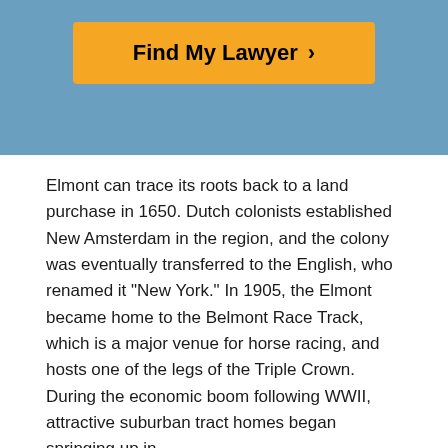[Figure (other): Blue header background with orange 'Find My Lawyer >' button]
Elmont can trace its roots back to a land purchase in 1650. Dutch colonists established New Amsterdam in the region, and the colony was eventually transferred to the English, who renamed it "New York." In 1905, the Elmont became home to the Belmont Race Track, which is a major venue for horse racing, and hosts one of the legs of the Triple Crown. During the economic boom following WWII, attractive suburban tract homes began springing up in
READ MORE
Find a Lawyer